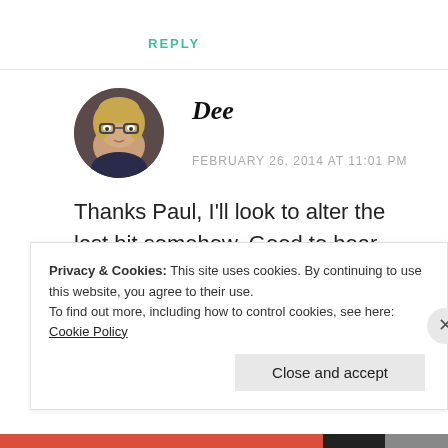REPLY
[Figure (photo): Circular avatar photo of a woman with glasses and blonde hair]
Dee
FEBRUARY 26, 2014 AT 11:01 PM
Thanks Paul, I'll look to alter the last bit somehow. Good to hear
Privacy & Cookies: This site uses cookies. By continuing to use this website, you agree to their use.
To find out more, including how to control cookies, see here: Cookie Policy
Close and accept